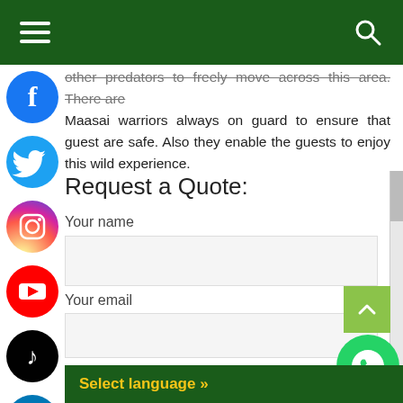other predators to freely move across this area. There are Maasai warriors always on guard to ensure that guest are safe. Also they enable the guests to enjoy this wild experience.
Request a Quote:
Your name
Your email
Your Nationality
Select language »